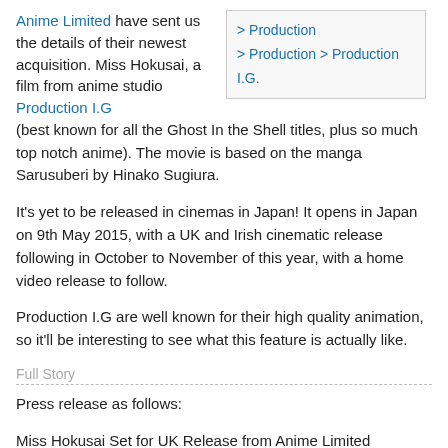Anime Limited have sent us the details of their newest acquisition. Miss Hokusai, a film from anime studio Production I.G (best known for all the Ghost In the Shell titles, plus so much top notch anime). The movie is based on the manga Sarusuberi by Hinako Sugiura.
It's yet to be released in cinemas in Japan! It opens in Japan on 9th May 2015, with a UK and Irish cinematic release following in October to November of this year, with a home video release to follow.
Production I.G are well known for their high quality animation, so it'll be interesting to see what this feature is actually like.
Full Story
Press release as follows:
Miss Hokusai Set for UK Release from Anime Limited